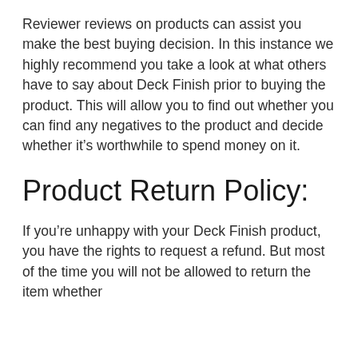Reviewer reviews on products can assist you make the best buying decision. In this instance we highly recommend you take a look at what others have to say about Deck Finish prior to buying the product. This will allow you to find out whether you can find any negatives to the product and decide whether it's worthwhile to spend money on it.
Product Return Policy:
If you're unhappy with your Deck Finish product, you have the rights to request a refund. But most of the time you will not be allowed to return the item whether